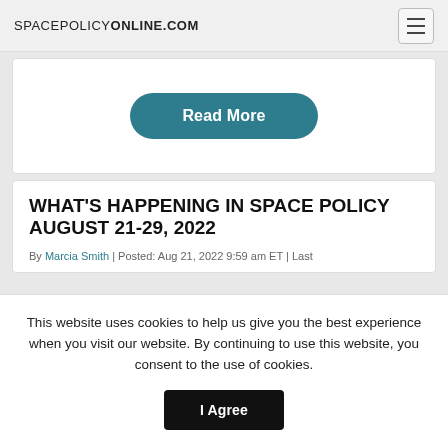SPACEPOLICYONLINE.COM
[Figure (other): Read More button (teal rounded rectangle)]
WHAT'S HAPPENING IN SPACE POLICY AUGUST 21-29, 2022
By Marcia Smith | Posted: Aug 21, 2022 9:59 am ET | Last
This website uses cookies to help us give you the best experience when you visit our website. By continuing to use this website, you consent to the use of cookies.
I Agree